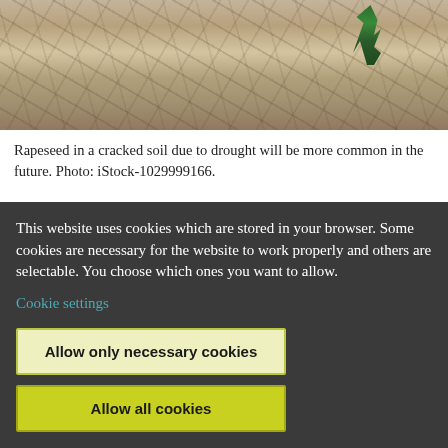[Figure (photo): Cracked dry soil with a small green plant (rapeseed) growing in it, photographed from above.]
Rapeseed in a cracked soil due to drought will be more common in the future. Photo: iStock-1029999166.
Welcome to a scientific dialogue on climate change. In 2021 and 2022, the Intergovernmental Panel on Climate Change (IPCC) will present its
This website uses cookies which are stored in your browser. Some cookies are necessary for the website to work properly and others are selectable. You choose which ones you want to allow.
Cookie settings
Allow only necessary cookies
Allow all cookies